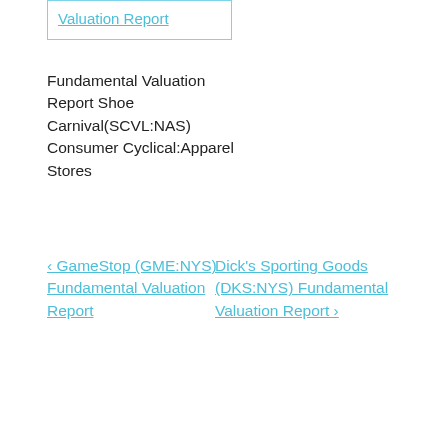Valuation Report
Fundamental Valuation Report Shoe Carnival(SCVL:NAS) Consumer Cyclical:Apparel Stores
‹ GameStop (GME:NYS) Fundamental Valuation Report
Dick's Sporting Goods (DKS:NYS) Fundamental Valuation Report ›